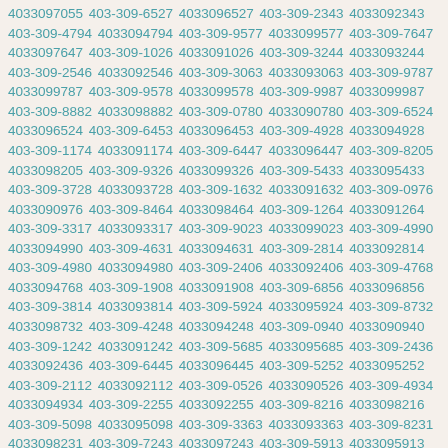4033097055 403-309-6527 4033096527 403-309-2343 4033092343 403-309-4794 4033094794 403-309-9577 4033099577 403-309-7647 4033097647 403-309-1026 4033091026 403-309-3244 4033093244 403-309-2546 4033092546 403-309-3063 4033093063 403-309-9787 4033099787 403-309-9578 4033099578 403-309-9987 4033099987 403-309-8882 4033098882 403-309-0780 4033090780 403-309-6524 4033096524 403-309-6453 4033096453 403-309-4928 4033094928 403-309-1174 4033091174 403-309-6447 4033096447 403-309-8205 4033098205 403-309-9326 4033099326 403-309-5433 4033095433 403-309-3728 4033093728 403-309-1632 4033091632 403-309-0976 4033090976 403-309-8464 4033098464 403-309-1264 4033091264 403-309-3317 4033093317 403-309-9023 4033099023 403-309-4990 4033094990 403-309-4631 4033094631 403-309-2814 4033092814 403-309-4980 4033094980 403-309-2406 4033092406 403-309-4768 4033094768 403-309-1908 4033091908 403-309-6856 4033096856 403-309-3814 4033093814 403-309-5924 4033095924 403-309-8732 4033098732 403-309-4248 4033094248 403-309-0940 4033090940 403-309-1242 4033091242 403-309-5685 4033095685 403-309-2436 4033092436 403-309-6445 4033096445 403-309-5252 4033095252 403-309-2112 4033092112 403-309-0526 4033090526 403-309-4934 4033094934 403-309-2255 4033092255 403-309-8216 4033098216 403-309-5098 4033095098 403-309-3363 4033093363 403-309-8231 4033098231 403-309-7243 4033097243 403-309-5913 4033095913 403-309-4439 4033094439 403-309-7943 4033097943 403-309-9212 4033099212 403-309-4214 4033094214 403-309-4013 4033094013 403-309-9029 4033099029 403-309-6153 4033096153 403-309-0778 4033090778 403-309-6963 4033096963 403-309-0039 4033090039 403-